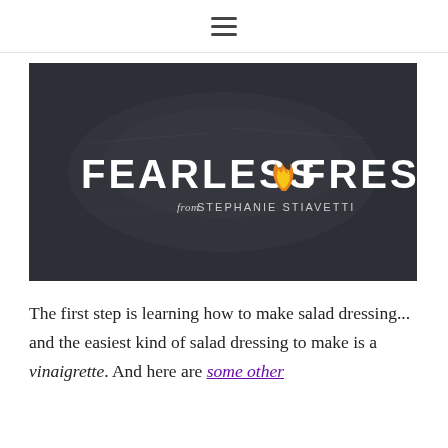≡ (hamburger menu icon)
[Figure (logo): Fearless Fresh logo on dark chalkboard background. White bold text reads 'FEARLESS FRESH' with an orange flame icon between the two words. Below in smaller text: 'from STEPHANIE STIAVETTI']
The first step is learning how to make salad dressing... and the easiest kind of salad dressing to make is a vinaigrette. And here are some other